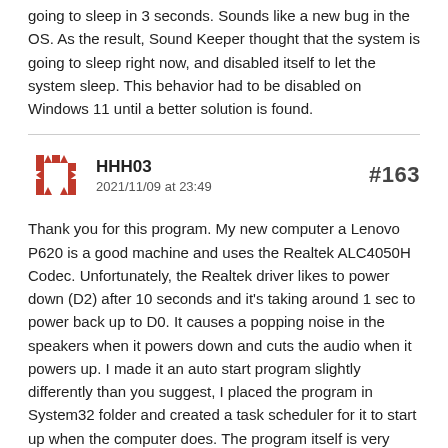going to sleep in 3 seconds. Sounds like a new bug in the OS. As the result, Sound Keeper thought that the system is going to sleep right now, and disabled itself to let the system sleep. This behavior had to be disabled on Windows 11 until a better solution is found.
HHH03
2021/11/09 at 23:49
#163
Thank you for this program. My new computer a Lenovo P620 is a good machine and uses the Realtek ALC4050H Codec. Unfortunately, the Realtek driver likes to power down (D2) after 10 seconds and it's taking around 1 sec to power back up to D0. It causes a popping noise in the speakers when it powers down and cuts the audio when it powers up. I made it an auto start program slightly differently than you suggest, I placed the program in System32 folder and created a task scheduler for it to start up when the computer does. The program itself is very small, 20kb is tiny but it does use more system memory than I'd expect... 2.9 MB and it varies in size. Is this a normal range for